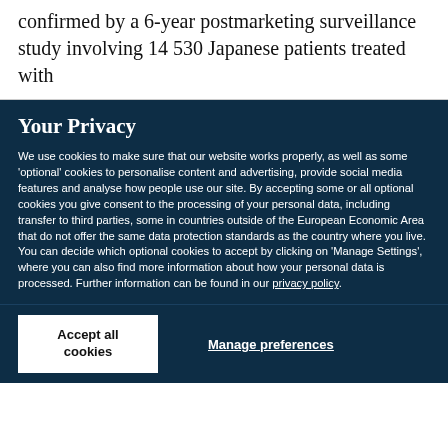confirmed by a 6-year postmarketing surveillance study involving 14 530 Japanese patients treated with
Your Privacy
We use cookies to make sure that our website works properly, as well as some 'optional' cookies to personalise content and advertising, provide social media features and analyse how people use our site. By accepting some or all optional cookies you give consent to the processing of your personal data, including transfer to third parties, some in countries outside of the European Economic Area that do not offer the same data protection standards as the country where you live. You can decide which optional cookies to accept by clicking on 'Manage Settings', where you can also find more information about how your personal data is processed. Further information can be found in our privacy policy.
Accept all cookies
Manage preferences